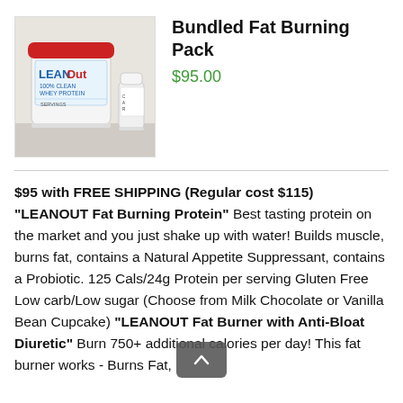[Figure (photo): Photo of LEANOUT 100% Clean Whey Protein large white container with red lid and a smaller white supplement bottle beside it, on a countertop.]
Bundled Fat Burning Pack
$95.00
$95 with FREE SHIPPING (Regular cost $115) “LEANOUT Fat Burning Protein” Best tasting protein on the market and you just shake up with water! Builds muscle, burns fat, contains a Natural Appetite Suppressant, contains a Probiotic. 125 Cals/24g Protein per serving Gluten Free Low carb/Low sugar (Choose from Milk Chocolate or Vanilla Bean Cupcake) “LEANOUT Fat Burner with Anti-Bloat Diuretic” Burn 750+ additional calories per day! This fat burner works - Burns Fat,